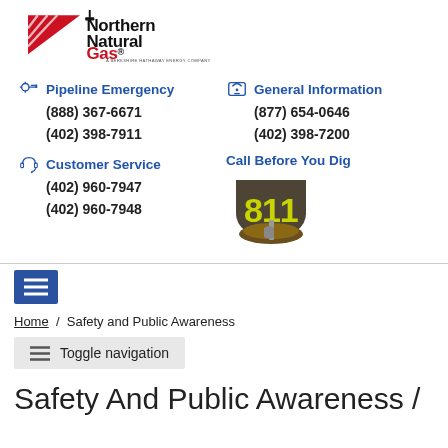[Figure (logo): Northern Natural Gas logo - A Berkshire Hathaway Energy Company, with red triangle and gas pipeline icon]
Pipeline Emergency
(888) 367-6671
(402) 398-7911
General Information
(877) 654-0646
(402) 398-7200
Customer Service
(402) 960-7947
(402) 960-7948
[Figure (logo): Call Before You Dig 811 badge logo]
[Figure (other): Hamburger menu icon button (blue background with three white horizontal lines)]
Home / Safety and Public Awareness
Toggle navigation
Safety And Public Awareness /